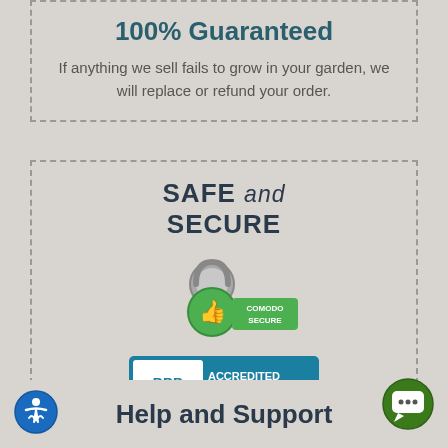100% Guaranteed
If anything we sell fails to grow in your garden, we will replace or refund your order.
SAFE and SECURE
[Figure (logo): Comodo Secure badge with thumbs up icon and padlock]
[Figure (logo): BBB Accredited Business badge with Click for Review text]
Learn more about Privacy and Security.
Help and Support